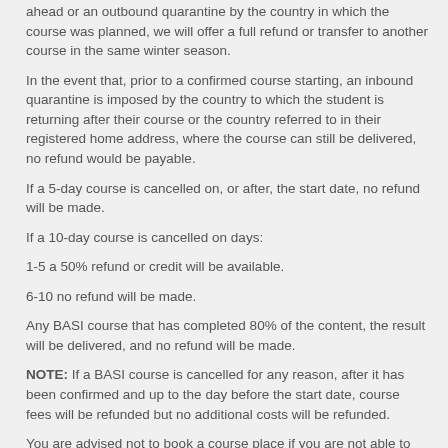ahead or an outbound quarantine by the country in which the course was planned, we will offer a full refund or transfer to another course in the same winter season.
In the event that, prior to a confirmed course starting, an inbound quarantine is imposed by the country to which the student is returning after their course or the country referred to in their registered home address, where the course can still be delivered, no refund would be payable.
If a 5-day course is cancelled on, or after, the start date, no refund will be made.
If a 10-day course is cancelled on days:
1-5 a 50% refund or credit will be available.
6-10 no refund will be made.
Any BASI course that has completed 80% of the content, the result will be delivered, and no refund will be made.
NOTE: If a BASI course is cancelled for any reason, after it has been confirmed and up to the day before the start date, course fees will be refunded but no additional costs will be refunded.
You are advised not to book a course place if you are not able to accept these conditions.